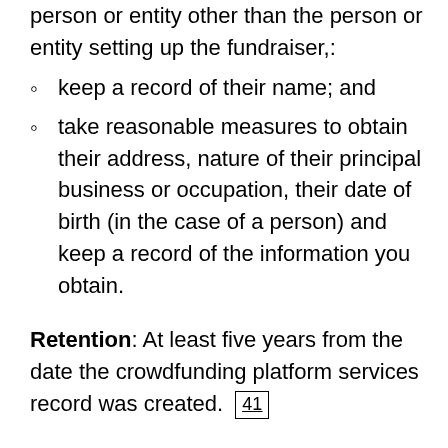person or entity other than the person or entity setting up the fundraiser,:
keep a record of their name; and
take reasonable measures to obtain their address, nature of their principal business or occupation, their date of birth (in the case of a person) and keep a record of the information you obtain.
Retention: At least five years from the date the crowdfunding platform services record was created. 41